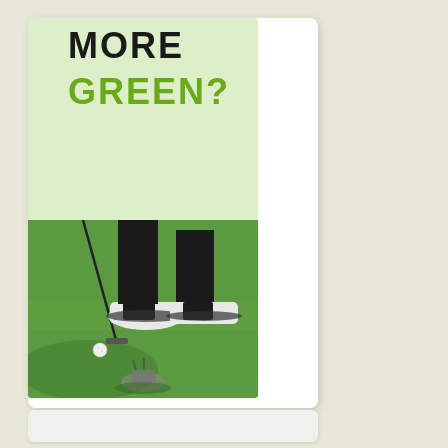MORE
GREEN?
[Figure (photo): Close-up photograph of a golfer's feet on a putting green, wearing black and white golf shoes, with a putter and golf ball visible on the green grass, and a divot repair tool on the ground.]